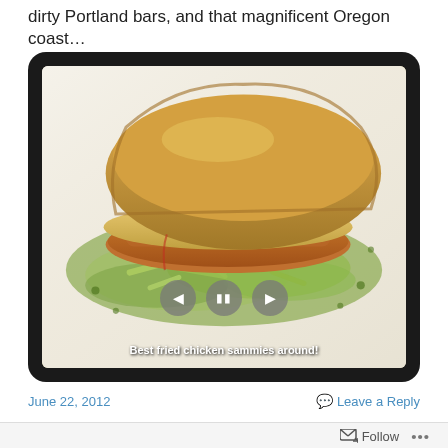dirty Portland bars, and that magnificent Oregon coast…
[Figure (photo): A fried chicken sandwich on white bread with shredded lettuce/cabbage on white paper wrapping, shown with media playback controls (back, pause, forward buttons) overlaid. Caption overlay reads: Best fried chicken sammies around!]
June 22, 2012
Leave a Reply
Follow …